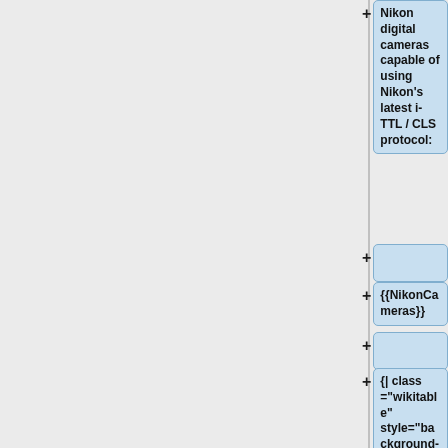+ Nikon digital cameras capable of using Nikon's latest i-TTL / CLS protocol:
+
+ {{NikonCameras}}
+
+ {| class ="wikitable" style="background-color: #ffffcc;"
+ |'''Note:''' The Nikon Z7, Z6, and Z50 cameras are